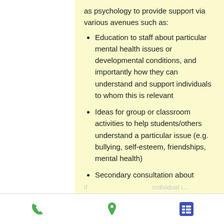as psychology to provide support via various avenues such as:
Education to staff about particular mental health issues or developmental conditions, and importantly how they can understand and support individuals to whom this is relevant
Ideas for group or classroom activities to help students/others understand a particular issue (e.g. bullying, self-esteem, friendships, mental health)
Secondary consultation about particular issues arising among groups or presenting in an individual
Phone | Location | Menu icons